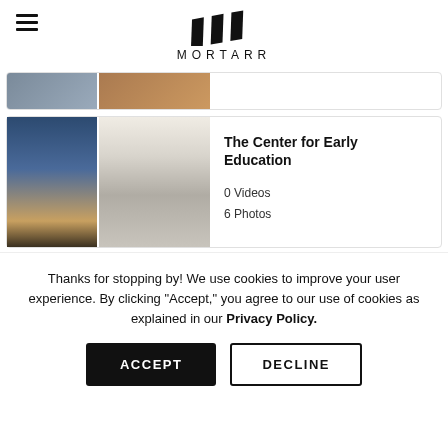[Figure (logo): Mortarr logo with three chevron shapes and text MORTARR below]
[Figure (photo): Partial view of two building/interior thumbnail photos cropped at top]
[Figure (photo): Two photos: exterior night view of glass building and interior corridor with tables]
The Center for Early Education
0 Videos
6 Photos
Thanks for stopping by! We use cookies to improve your user experience. By clicking "Accept," you agree to our use of cookies as explained in our Privacy Policy.